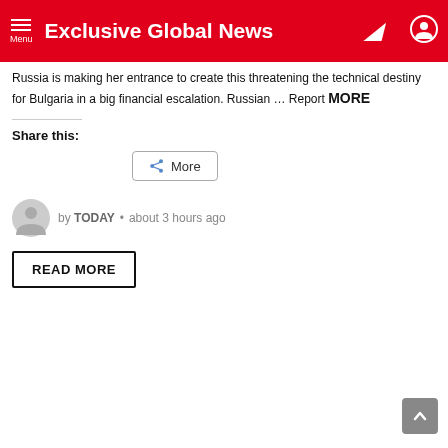Menu | Exclusive Global News
Russia is making her entrance to create this threatening the technical destiny for Bulgaria in a big financial escalation. Russian … Report MORE
Share this:
More
by TODAY • about 3 hours ago
READ MORE